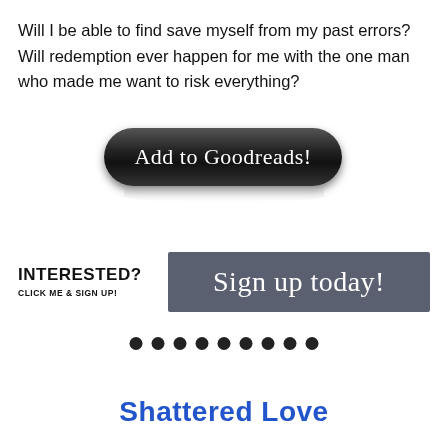Will I be able to find save myself from my past errors? Will redemption ever happen for me with the one man who made me want to risk everything?
[Figure (illustration): Black rounded pill-shaped button with cursive white text 'Add to Goodreads!' and a subtle reflection below it]
[Figure (illustration): Two-part call-to-action banner: left side shows bold text 'INTERESTED? CLICK ME & SIGN UP!' and right side is a dark grey button with cursive white text 'Sign up today!']
• • • • • • • • •
Shattered Love